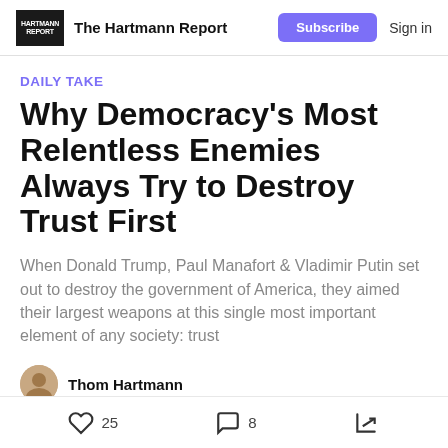The Hartmann Report | Subscribe | Sign in
DAILY TAKE
Why Democracy's Most Relentless Enemies Always Try to Destroy Trust First
When Donald Trump, Paul Manafort & Vladimir Putin set out to destroy the government of America, they aimed their largest weapons at this single most important element of any society: trust
Thom Hartmann
25 likes  8 comments  share